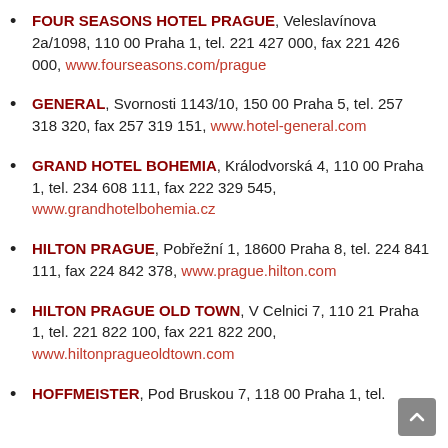FOUR SEASONS HOTEL PRAGUE, Veleslavínova 2a/1098, 110 00 Praha 1, tel. 221 427 000, fax 221 426 000, www.fourseasons.com/prague
GENERAL, Svornosti 1143/10, 150 00 Praha 5, tel. 257 318 320, fax 257 319 151, www.hotel-general.com
GRAND HOTEL BOHEMIA, Králodvorská 4, 110 00 Praha 1, tel. 234 608 111, fax 222 329 545, www.grandhotelbohemia.cz
HILTON PRAGUE, Pobřežní 1, 18600 Praha 8, tel. 224 841 111, fax 224 842 378, www.prague.hilton.com
HILTON PRAGUE OLD TOWN, V Celnici 7, 110 21 Praha 1, tel. 221 822 100, fax 221 822 200, www.hiltonpragueoldtown.com
HOFFMEISTER, Pod Bruskou 7, 118 00 Praha 1, tel.